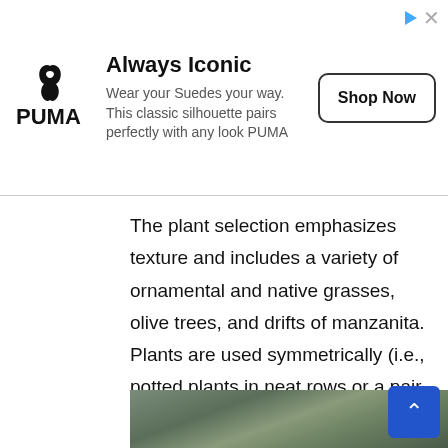[Figure (other): PUMA advertisement banner with logo, text 'Always Iconic', 'Wear your Suedes your way. This classic silhouette pairs perfectly with any look PUMA', and a 'Shop Now' button]
The plant selection emphasizes texture and includes a variety of ornamental and native grasses, olive trees, and drifts of manzanita. Plants are used symmetrically (i.e., potted plants in neat rows or a pair flanking the front door) and are meant to soften the hard edges of modern architecture and add a pop of color. This residence is a renovation of a traditional landscape into a contemporary garden.
[Figure (photo): Photo of a contemporary garden in front of a modern house with ornamental grasses and concrete features]